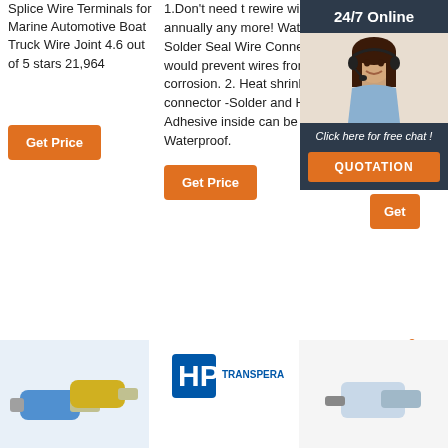Splice Wire Terminals for Marine Automotive Boat Truck Wire Joint 4.6 out of 5 stars 21,964
Get Price
1.Don't need t rewire wires annually any more! Waterproof Solder Seal Wire Connectors would prevent wires from corrosion. 2. Heat shrink butt connector -Solder and Hot Melt Adhesive inside can be perfectly Waterproof.
Get Price
hot-melt adhesive prevents wire corrosion, and you will never have to worry about wire damage
Get
[Figure (infographic): 24/7 Online customer support chat overlay with woman wearing headset, with 'Click here for free chat!' text and QUOTATION button]
[Figure (photo): Wire terminal connector product photo]
[Figure (logo): HP Transperal logo]
[Figure (photo): Wire terminal product photo]
[Figure (infographic): TOP button with orange dot pattern triangle icon]